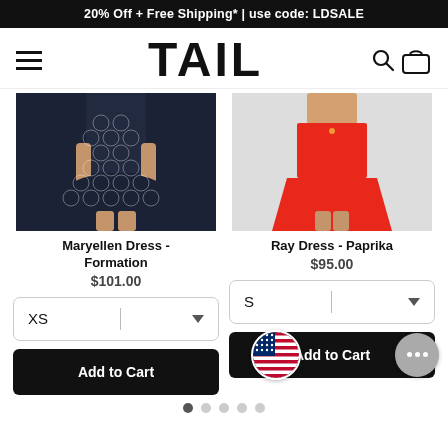20% Off + Free Shipping* | use code: LDSALE
[Figure (logo): TAIL brand logo with hamburger menu, search icon, and shopping bag icon]
[Figure (photo): Maryellen Dress in Formation pattern - dark navy blue with white geometric circle pattern, model wearing dress]
[Figure (photo): Ray Dress in Paprika - bright red/orange dress, model wearing dress]
Maryellen Dress - Formation
$101.00
Ray Dress - Paprika
$95.00
XS
S
Add to Cart
Add to Cart